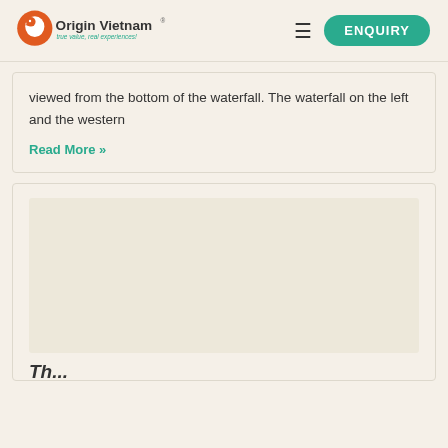Origin Vietnam — true value, real experiences! | ENQUIRY
viewed from the bottom of the waterfall. The waterfall on the left and the western
Read More »
[Figure (photo): Blank/loading image placeholder inside a card]
The ...